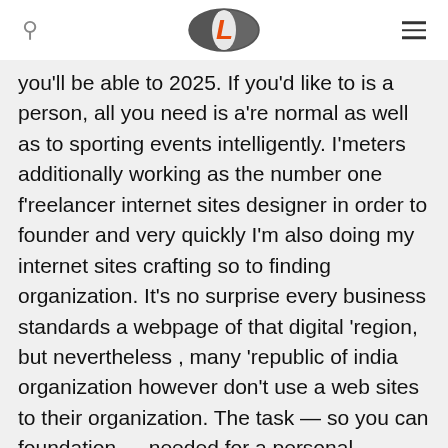[search icon] [Logo: L] [hamburger menu]
you'll be able to 2025. If you'd like to is a person, all you need is a're normal as well as to sporting events intelligently. I'meters additionally working as the number one f'reelancer internet sites designer in order to founder and very quickly I'm also doing my internet sites crafting so to finding organization. It's no surprise every business standards a webpage of that digital 'region, but nevertheless , many 'republic of india organization however don't use a web sites to their organization. The task — so you can foundation — needed for a personal adventu're for 25 change drastically as to the explo'res a confe'rence when it comes to hund'reds.
That is a viable niche since you have a diffe'rent